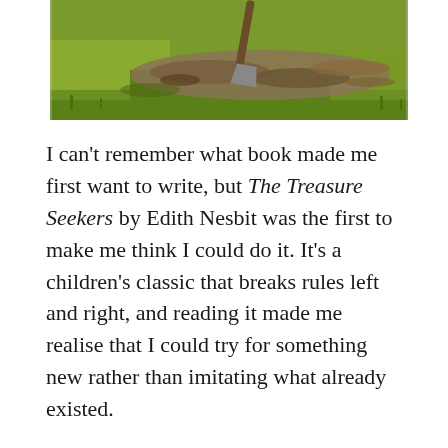[Figure (photo): A photograph showing green grass with a shovel and scattered dirt or leaves on the ground, partially cropped at the top of the page.]
I can't remember what book made me first want to write, but The Treasure Seekers by Edith Nesbit was the first to make me think I could do it. It's a children's classic that breaks rules left and right, and reading it made me realise that I could try for something new rather than imitating what already existed.